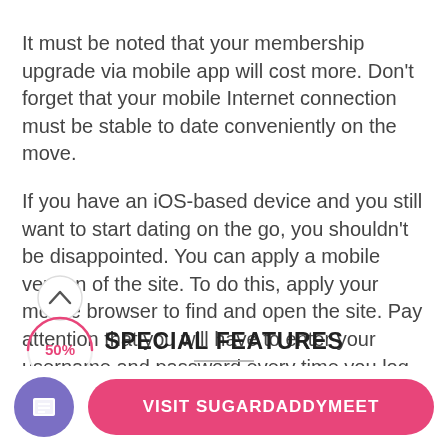It must be noted that your membership upgrade via mobile app will cost more. Don't forget that your mobile Internet connection must be stable to date conveniently on the move.
If you have an iOS-based device and you still want to start dating on the go, you shouldn't be disappointed. You can apply a mobile version of the site. To do this, apply your mobile browser to find and open the site. Pay attention that you will have to enter your username and password every time you log in.
SPECIAL FEATURES
The platform offers several unique features that make
[Figure (infographic): Scroll progress indicator showing an upward chevron arrow in a circle, with a pink partial ring showing 50% progress label below]
VISIT SUGARDADDYMEET